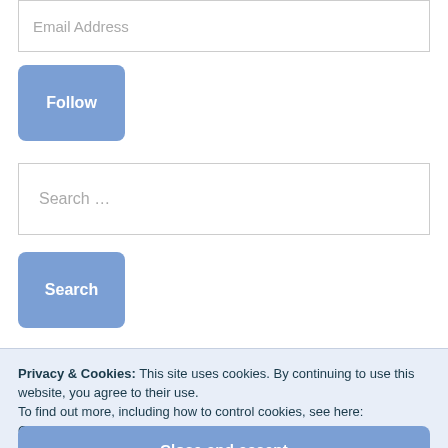Email Address
Follow
Search ...
Search
Privacy & Cookies: This site uses cookies. By continuing to use this website, you agree to their use.
To find out more, including how to control cookies, see here: Our Cookie Policy
Close and accept
2019 WINNER
2018 WINNER